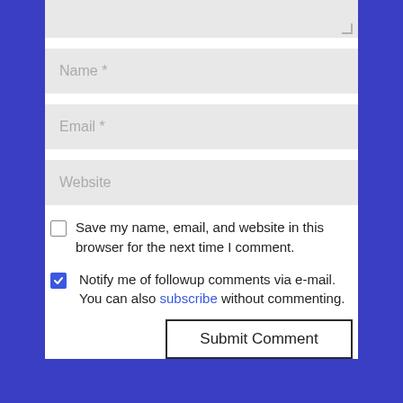[Figure (screenshot): Textarea stub (top portion cut off) with resize handle at bottom right]
Name *
Email *
Website
Save my name, email, and website in this browser for the next time I comment.
Notify me of followup comments via e-mail. You can also subscribe without commenting.
Submit Comment